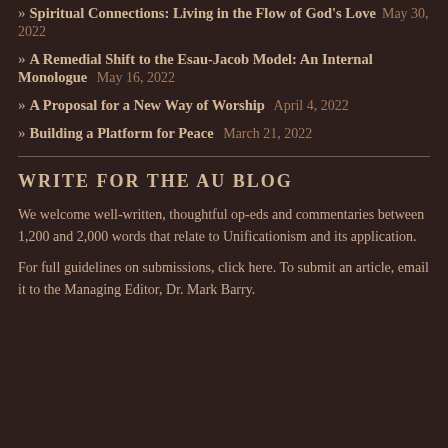Spiritual Connections: Living in the Flow of God's Love  May 30, 2022
A Remedial Shift to the Esau-Jacob Model: An Internal Monologue  May 16, 2022
A Proposal for a New Way of Worship  April 4, 2022
Building a Platform for Peace  March 21, 2022
WRITE FOR THE AU BLOG
We welcome well-written, thoughtful op-eds and commentaries between 1,200 and 2,000 words that relate to Unificationism and its application.
For full guidelines on submissions, click here. To submit an article, email it to the Managing Editor, Dr. Mark Barry.